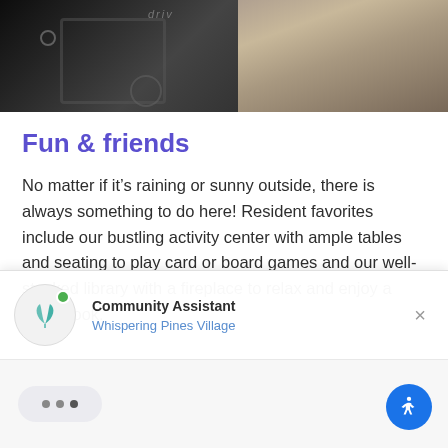[Figure (photo): Cropped photo showing wheelchair and person with tropical-print clothing, dark indoor setting]
Fun & friends
No matter if it’s raining or sunny outside, there is always something to do here! Resident favorites include our bustling activity center with ample tables and seating to play card or board games and our well-stocked library with a fireplace to relax and enjoy a good book.
[Figure (screenshot): Chat widget overlay showing Community Assistant for Whispering Pines Village with online indicator and close button]
[Figure (screenshot): Chat bottom bar with typing indicator bubble (three dots) and blue accessibility button]